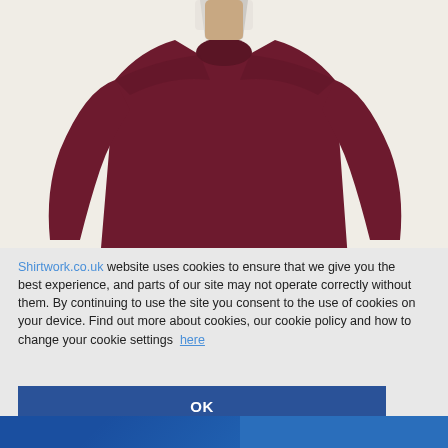[Figure (photo): Photo of a man wearing a dark maroon/burgundy crew-neck sweater over a white collared shirt, against a light beige background. Only the torso and lower face are visible.]
Shirtwork.co.uk website uses cookies to ensure that we give you the best experience, and parts of our site may not operate correctly without them. By continuing to use the site you consent to the use of cookies on your device. Find out more about cookies, our cookie policy and how to change your cookie settings here
[Figure (screenshot): Blue OK button in cookie consent dialog]
[Figure (screenshot): Blue chat bar at bottom right with speech bubble icon and text 'Click here to chat with us']